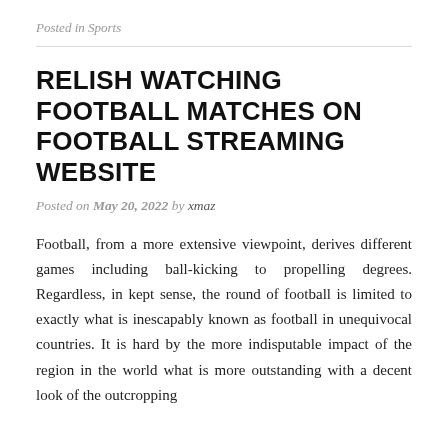Posted in Sports
RELISH WATCHING FOOTBALL MATCHES ON FOOTBALL STREAMING WEBSITE
Posted on May 20, 2022 by xmaz
Football, from a more extensive viewpoint, derives different games including ball-kicking to propelling degrees. Regardless, in kept sense, the round of football is limited to exactly what is inescapably known as football in unequivocal countries. It is hard by the more indisputable impact of the region in the world what is more outstanding with a decent look of the outcropping